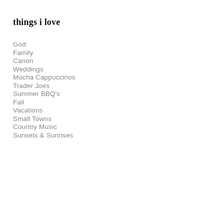things i love
God
Family
Canon
Weddings
Mocha Cappuccinos
Trader Joes
Summer BBQ's
Fall
Vacations
Small Towns
Country Music
Sunsets & Sunrises